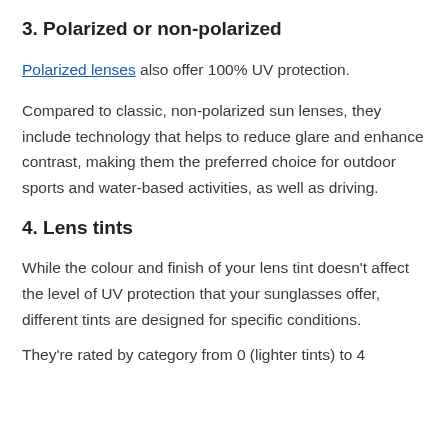3. Polarized or non-polarized
Polarized lenses also offer 100% UV protection.
Compared to classic, non-polarized sun lenses, they include technology that helps to reduce glare and enhance contrast, making them the preferred choice for outdoor sports and water-based activities, as well as driving.
4. Lens tints
While the colour and finish of your lens tint doesn't affect the level of UV protection that your sunglasses offer, different tints are designed for specific conditions.
They're rated by category from 0 (lighter tints) to 4